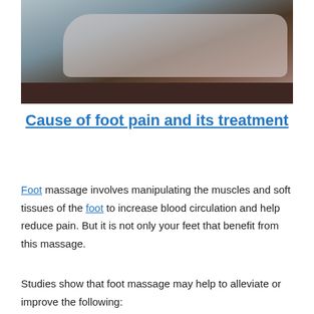[Figure (photo): Man lying face down on a massage table, arms folded under his head, shirtless, receiving a massage treatment.]
Cause of foot pain and its treatment
Foot massage involves manipulating the muscles and soft tissues of the foot to increase blood circulation and help reduce pain. But it is not only your feet that benefit from this massage.
Studies show that foot massage may help to alleviate or improve the following: